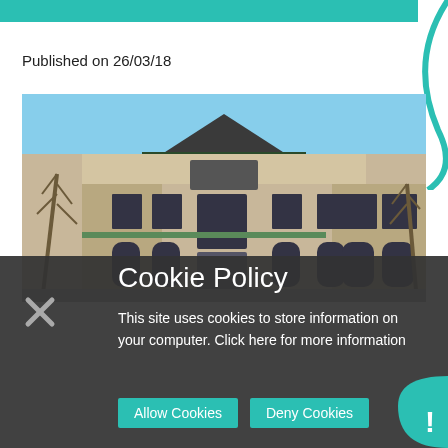Published on 26/03/18
[Figure (photo): Photograph of a large classical European-style building facade with columns and arched windows, bare trees in the foreground, taken in winter under a blue sky.]
Cookie Policy
This site uses cookies to store information on your computer. Click here for more information
Allow Cookies   Deny Cookies